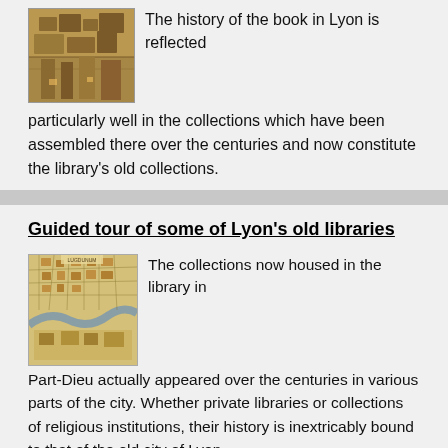[Figure (photo): An aerial or close-up photograph of old stonework or building facades in Lyon, brownish/golden tones]
The history of the book in Lyon is reflected particularly well in the collections which have been assembled there over the centuries and now constitute the library's old collections.
Guided tour of some of Lyon's old libraries
[Figure (illustration): An old illustrated map of Lyon showing the city layout with streets and river, in warm brownish-green tones]
The collections now housed in the library in Part-Dieu actually appeared over the centuries in various parts of the city. Whether private libraries or collections of religious institutions, their history is inextricably bound to that of the old city of Lyon.